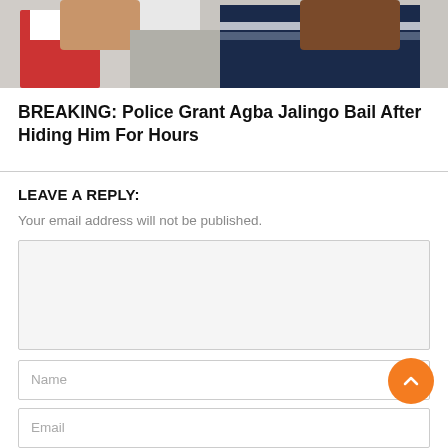[Figure (photo): Top portion of a photograph showing people, cropped at the top of the page]
BREAKING: Police Grant Agba Jalingo Bail After Hiding Him For Hours
LEAVE A REPLY:
Your email address will not be published.